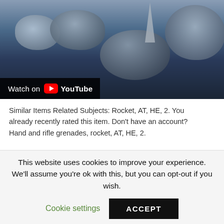[Figure (screenshot): YouTube video thumbnail showing rocks/grenades with 'Watch on YouTube' overlay button in bottom-left corner]
Similar Items Related Subjects: Rocket, AT, HE, 2. You already recently rated this item. Don't have an account? Hand and rifle grenades, rocket, AT, HE, 2.
FM 23-30 Hand And Rifle Grenades, Rocket, AT, HE, 2.36-Inch 1944
This website uses cookies to improve your experience. We'll assume you're ok with this, but you can opt-out if you wish.
Cookie settings    ACCEPT